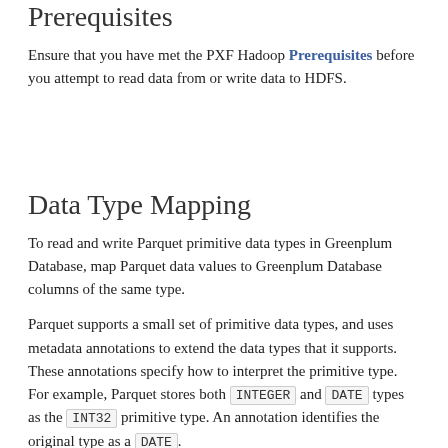Prerequisites
Ensure that you have met the PXF Hadoop Prerequisites before you attempt to read data from or write data to HDFS.
Data Type Mapping
To read and write Parquet primitive data types in Greenplum Database, map Parquet data values to Greenplum Database columns of the same type.
Parquet supports a small set of primitive data types, and uses metadata annotations to extend the data types that it supports. These annotations specify how to interpret the primitive type. For example, Parquet stores both INTEGER and DATE types as the INT32 primitive type. An annotation identifies the original type as a DATE.